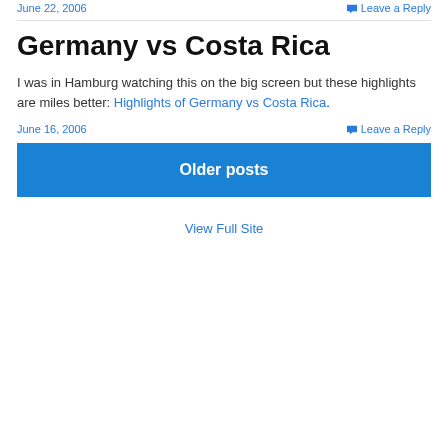June 22, 2006   Leave a Reply
Germany vs Costa Rica
I was in Hamburg watching this on the big screen but these highlights are miles better: Highlights of Germany vs Costa Rica.
June 16, 2006   Leave a Reply
Older posts
View Full Site